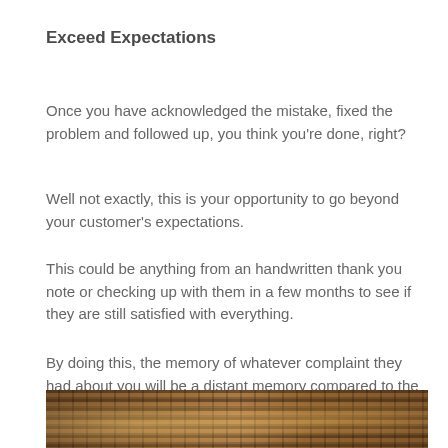Exceed Expectations
Once you have acknowledged the mistake, fixed the problem and followed up, you think you're done, right?
Well not exactly, this is your opportunity to go beyond your customer's expectations.
This could be anything from an handwritten thank you note or checking up with them in a few months to see if they are still satisfied with everything.
By doing this, the memory of whatever complaint they had about you will be a distant memory compared to the memory of how you cared for them as a customer.
[Figure (photo): Photo of wooden blinds or slats with warm light filtering through, creating a pattern of horizontal lines in brown and golden tones.]